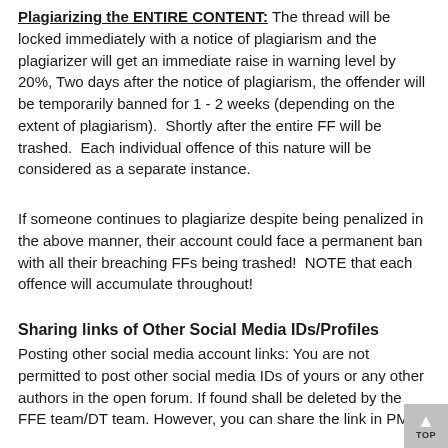Plagiarizing the ENTIRE CONTENT:  The thread will be locked immediately with a notice of plagiarism and the plagiarizer will get an immediate raise in warning level by 20%, Two days after the notice of plagiarism, the offender will be temporarily banned for 1 - 2 weeks (depending on the extent of plagiarism).  Shortly after the entire FF will be trashed.  Each individual offence of this nature will be considered as a separate instance.
If someone continues to plagiarize despite being penalized in the above manner, their account could face a permanent ban with all their breaching FFs being trashed!  NOTE that each offence will accumulate throughout!
Sharing links of Other Social Media IDs/Profiles
Posting other social media account links: You are not permitted to post other social media IDs of yours or any other authors in the open forum. If found shall be deleted by the FFE team/DT team. However, you can share the link in PMs